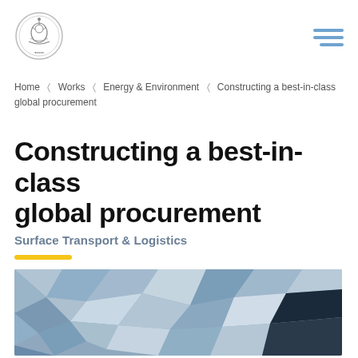[Figure (logo): Government circular seal/emblem logo]
Home   Works   Energy & Environment   Constructing a best-in-class global procurement
Constructing a best-in-class global procurement
Surface Transport & Logistics
[Figure (illustration): Abstract geometric low-poly pattern in shades of blue, grey, and white forming a decorative hero banner image]